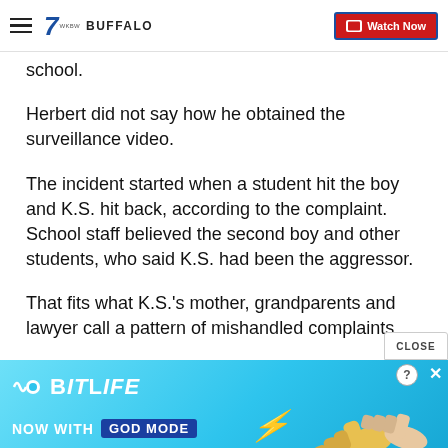7 BUFFALO | Watch Now
school.
Herbert did not say how he obtained the surveillance video.
The incident started when a student hit the boy and K.S. hit back, according to the complaint. School staff believed the second boy and other students, who said K.S. had been the aggressor.
That fits what K.S.'s mother, grandparents and lawyer call a pattern of mishandled complaints.
[Figure (screenshot): BitLife advertisement banner with 'NOW WITH GOD MODE' text, animated hands, and help/close icons on a cyan gradient background]